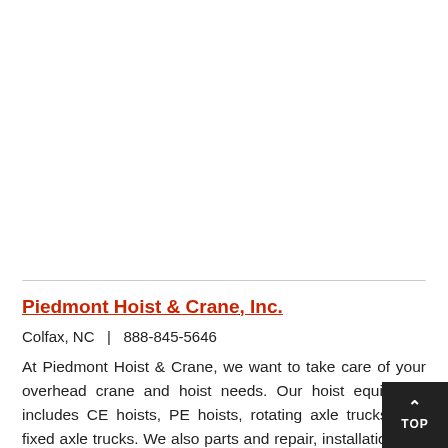Piedmont Hoist & Crane, Inc.
Colfax, NC  |  888-845-5646
At Piedmont Hoist & Crane, we want to take care of your overhead crane and hoist needs. Our hoist equipment includes CE hoists, PE hoists, rotating axle trucks, and fixed axle trucks. We also parts and repair, installation and modernization services t